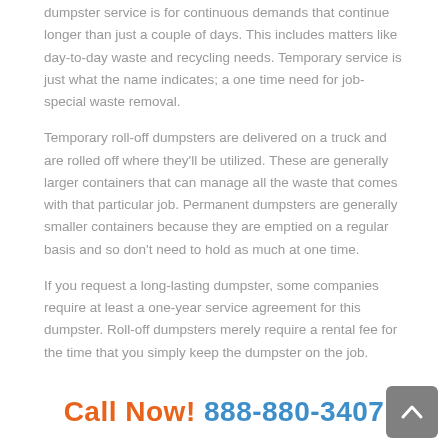dumpster service is for continuous demands that continue longer than just a couple of days. This includes matters like day-to-day waste and recycling needs. Temporary service is just what the name indicates; a one time need for job-special waste removal.
Temporary roll-off dumpsters are delivered on a truck and are rolled off where they'll be utilized. These are generally larger containers that can manage all the waste that comes with that particular job. Permanent dumpsters are generally smaller containers because they are emptied on a regular basis and so don't need to hold as much at one time.
If you request a long-lasting dumpster, some companies require at least a one-year service agreement for this dumpster. Roll-off dumpsters merely require a rental fee for the time that you simply keep the dumpster on the job.
Call Now! 888-880-3407